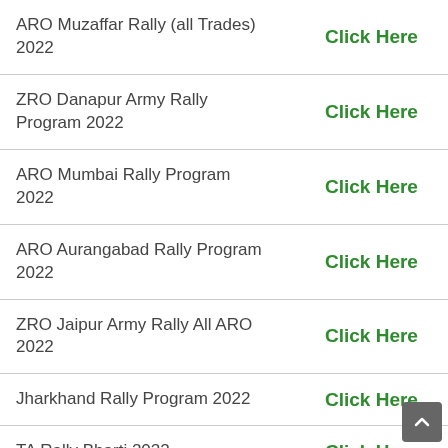ARO Muzaffar Rally (all Trades) 2022 | Click Here
ZRO Danapur Army Rally Program 2022 | Click Here
ARO Mumbai Rally Program 2022 | Click Here
ARO Aurangabad Rally Program 2022 | Click Here
ZRO Jaipur Army Rally All ARO 2022 | Click Here
Jharkhand Rally Program 2022 | Click Here
TA Rally Bharti 2022 | Click Here
RO Kolkata Army Rally 2022 | Click Here